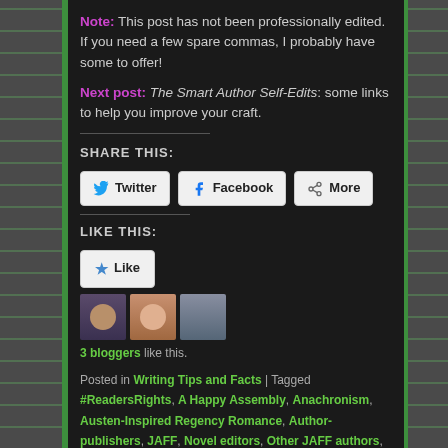Note: This post has not been professionally edited. If you need a few spare commas, I probably have some to offer!
Next post: The Smart Author Self-Edits: some links to help you improve your craft.
SHARE THIS:
Twitter | Facebook | More
LIKE THIS:
Like | 3 bloggers like this.
Posted in Writing Tips and Facts | Tagged #ReadersRights, A Happy Assembly, Anachronism, Austen-Inspired Regency Romance, Author-publishers, JAFF, Novel editors, Other JAFF authors, Pride and Prejudice, Proofreading a novel, Quality control, Suzan Lauder, Traditional publishing | 12 Replies